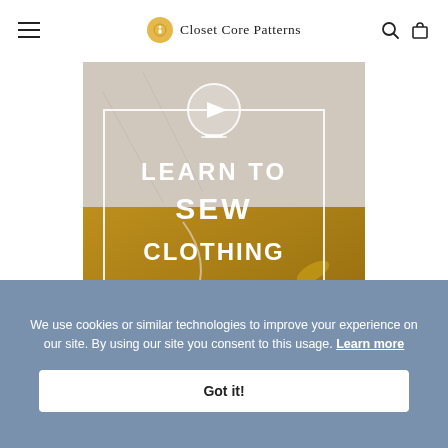Closet Core Patterns
[Figure (photo): Photo of sewing items including a white top and mustard yellow shorts with scissors and drawstring, overlaid with a white bordered box containing a play button icon and the text LEARN TO SEW CLOTHING in large white capital letters]
We use cookies or similar technologies to improve your experience on our site. By using our site you consent to this usage. Learn more
Got it!